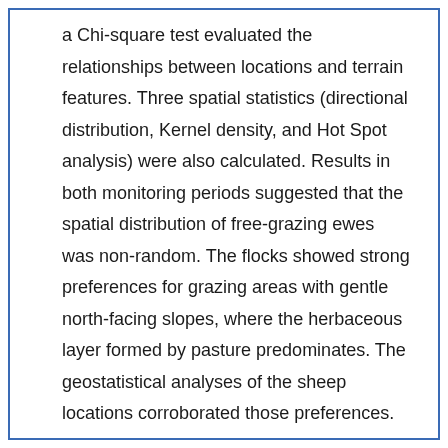a Chi-square test evaluated the relationships between locations and terrain features. Three spatial statistics (directional distribution, Kernel density, and Hot Spot analysis) were also calculated. Results in both monitoring periods suggested that the spatial distribution of free-grazing ewes was non-random. The flocks showed strong preferences for grazing areas with gentle north-facing slopes, where the herbaceous layer formed by pasture predominates. The geostatistical analyses of the sheep locations corroborated those preferences. Geotechnologies have emerged as a potent tool to demonstrate the influence of environmental and